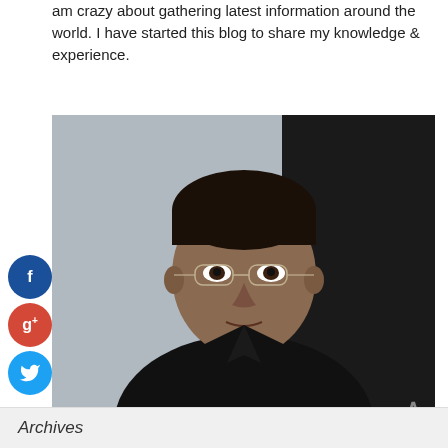am crazy about gathering latest information around the world. I have started this blog to share my knowledge & experience.
[Figure (photo): Portrait photo of a man wearing glasses and a dark jacket, looking slightly downward, against a light background.]
Archives